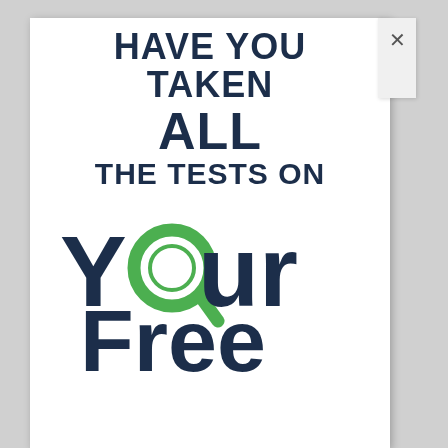HAVE YOU TAKEN ALL THE TESTS ON
[Figure (logo): YourFree logo with magnifying glass 'O' in green and dark navy text reading 'Your' and partially 'Free']